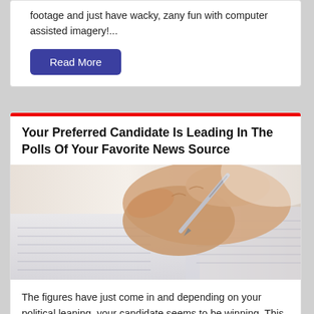footage and just have wacky, zany fun with computer assisted imagery!...
Read More
Your Preferred Candidate Is Leading In The Polls Of Your Favorite News Source
[Figure (photo): Close-up of a hand holding a pen, writing on a paper ballot or form]
The figures have just come in and depending on your political leaning, your candidate seems to be winning. This information is a big change over the last election, where